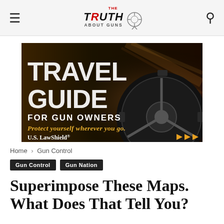THE TRUTH ABOUT GUNS
[Figure (illustration): Travel Guide for Gun Owners advertisement by U.S. LawShield. Dark background with a spinning car tire/wheel. Large white text reads TRAVEL GUIDE, below that FOR GUN OWNERS, and yellow italic text says Protect yourself wherever you go. Bottom left shows U.S. LawShield logo, bottom right shows yellow double-arrow icon.]
Home › Gun Control
Gun Control   Gun Nation
Superimpose These Maps. What Does That Tell You?